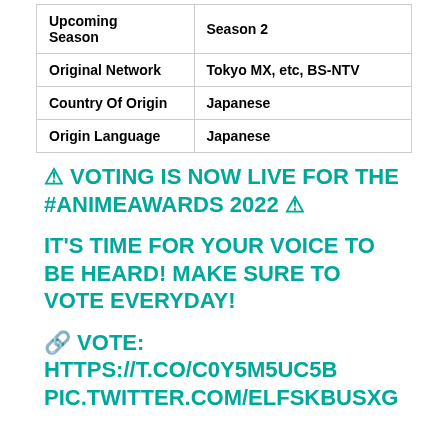| Upcoming Season | Season 2 |
| Original Network | Tokyo MX, etc, BS-NTV |
| Country Of Origin | Japanese |
| Origin Language | Japanese |
⚠ VOTING IS NOW LIVE FOR THE #ANIMEAWARDS 2022 ⚠
IT'S TIME FOR YOUR VOICE TO BE HEARD! MAKE SURE TO VOTE EVERYDAY!
🔗 VOTE: HTTPS://T.CO/C0Y5M5UC5B PIC.TWITTER.COM/ELFSKBUSXG